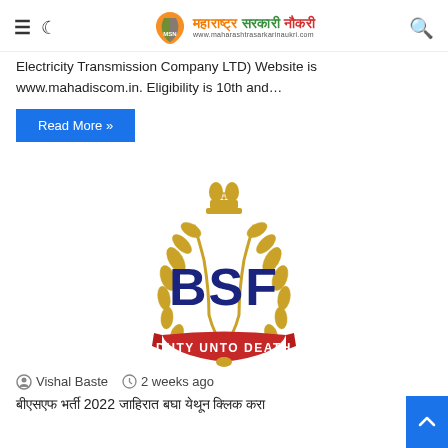Maharashtra Sarkari Naukri (MSN) — site header with hamburger menu, dark mode toggle, logo, and search icon
Electricity Transmission Company LTD) Website is www.mahadiscom.in. Eligibility is 10th and…
Read More »
[Figure (logo): BSF (Border Security Force) logo — golden laurel wreath with Ashoka emblem on top, dark blue BSF letters in center, red banner at bottom reading DUTY UNTO DEATH]
Vishal Baste  2 weeks ago
बीएसएफ भर्ती 2022 जाहिरात बघा येथून क्लिक करा